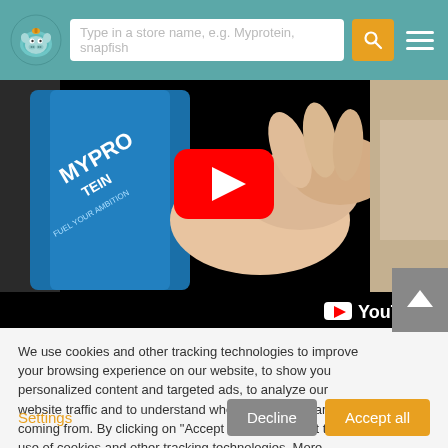Header bar with logo, search box, and hamburger menu
[Figure (screenshot): YouTube video thumbnail showing a hand holding a blue Myprotein supplement bag with a red YouTube play button overlay and YouTube logo in the bottom right corner]
We use cookies and other tracking technologies to improve your browsing experience on our website, to show you personalized content and targeted ads, to analyze our website traffic and to understand where our visitors are coming from. By clicking on "Accept all" you consent to the use of cookies and other tracking technologies. More information: Privacy Policy, Imprint.
Settings
Decline
Accept all